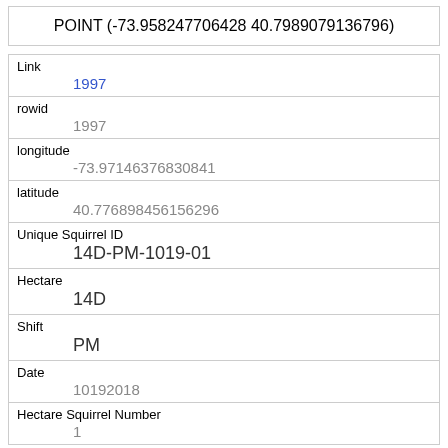POINT (-73.958247706428 40.7989079136796)
| Link | 1997 |
| rowid | 1997 |
| longitude | -73.97146376830841 |
| latitude | 40.776898456156296 |
| Unique Squirrel ID | 14D-PM-1019-01 |
| Hectare | 14D |
| Shift | PM |
| Date | 10192018 |
| Hectare Squirrel Number | 1 |